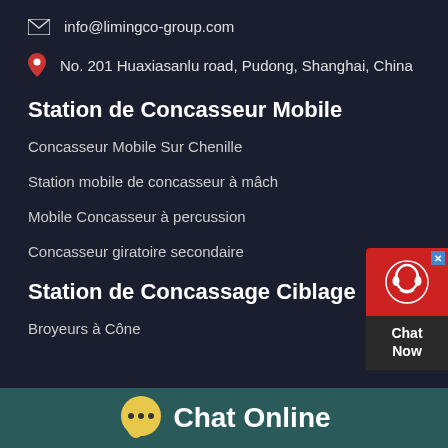info@limingco-group.com
No. 201 Huaxiasanlu road, Pudong, Shanghai, China
Station de Concasseur Mobile
Concasseur Mobile Sur Chenille
Station mobile de concasseur à mâch
Mobile Concasseur à percussion
Concasseur giratoire secondaire
Station de Concassage Ciblage
Broyeurs à Cône
[Figure (other): Chat Now widget with headset icon on red background]
Chat Online